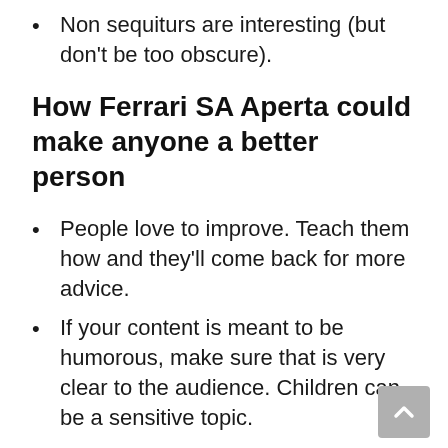Non sequiturs are interesting (but don't be too obscure).
How Ferrari SA Aperta could make anyone a better person
People love to improve. Teach them how and they'll come back for more advice.
If your content is meant to be humorous, make sure that is very clear to the audience. Children can be a sensitive topic.